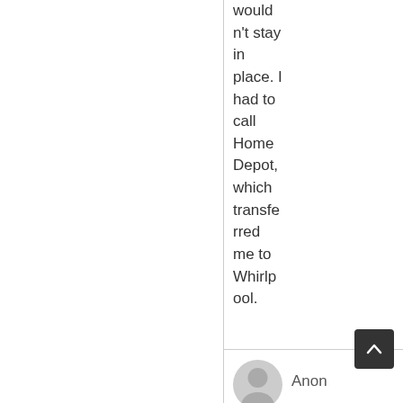wouldn't stay in place. I had to call Home Depot, which transferred me to Whirlpool.
Anon